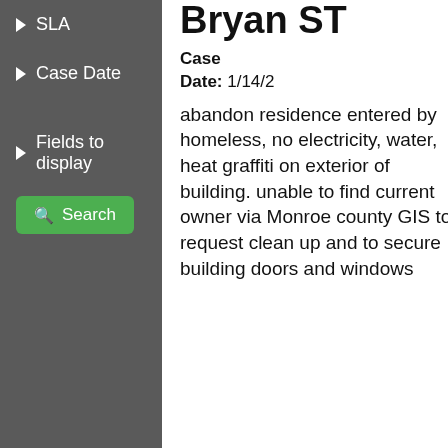SLA
Case Date
Fields to display
Search
Bryan ST
Case Date: 1/14/2
abandon residence entered by homeless, no electricity, water, heat graffiti on exterior of building. unable to find current owner via Monroe county GIS to request clean up and to secure building doors and windows